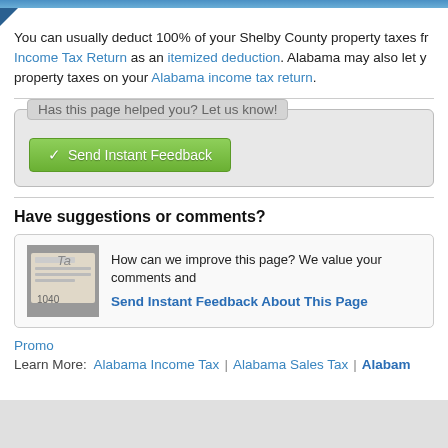You can usually deduct 100% of your Shelby County property taxes from your Federal Income Tax Return as an itemized deduction. Alabama may also let you deduct property taxes on your Alabama income tax return.
[Figure (screenshot): Feedback widget with label 'Has this page helped you? Let us know!' and a green 'Send Instant Feedback' button]
Have suggestions or comments?
[Figure (screenshot): Comment box with tax form image, text 'How can we improve this page? We value your comments and...' and link 'Send Instant Feedback About This Page']
Promo
Learn More: Alabama Income Tax | Alabama Sales Tax | Alabam